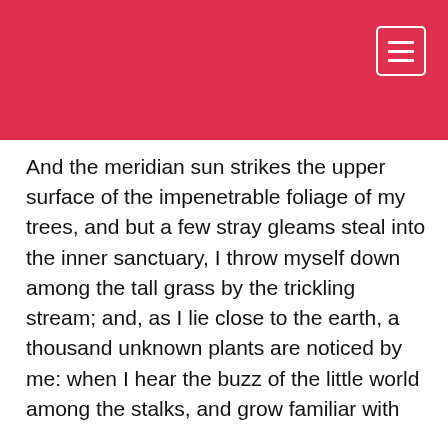[Figure (screenshot): Red website header bar with hamburger/menu icon (three horizontal lines) in a white outlined box at the top right corner]
And the meridian sun strikes the upper surface of the impenetrable foliage of my trees, and but a few stray gleams steal into the inner sanctuary, I throw myself down among the tall grass by the trickling stream; and, as I lie close to the earth, a thousand unknown plants are noticed by me: when I hear the buzz of the little world among the stalks, and grow familiar with
We are using cookies to give you the best experience. You can find out more about which cookies we are using or switch them off in privacy settings.
[Figure (screenshot): Accept button (blue pill-shaped), scroll-to-top circular button, and We're offline chat bubble widget with Leave a message link]